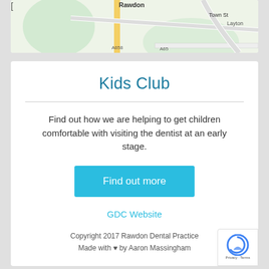[Figure (map): Partial view of a map showing Rawdon area with roads including Town St, Layton, A65, and A658]
Kids Club
Find out how we are helping to get children comfortable with visiting the dentist at an early stage.
Find out more
GDC Website
Copyright 2017 Rawdon Dental Practice
Made with ♥ by Aaron Massingham